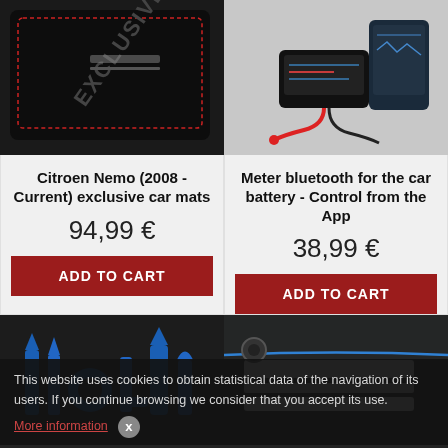[Figure (photo): Black exclusive car mat with red stitching and EXCLUSIVE label]
[Figure (photo): Bluetooth meter device for car battery with red cable connector and phone]
Citroen Nemo (2008 - Current) exclusive car mats
94,99 €
ADD TO CART
Meter bluetooth for the car battery - Control from the App
38,99 €
ADD TO CART
[Figure (photo): Set of blue plastic car trim removal tools]
[Figure (photo): Car interior detail with LED strip lighting]
This website uses cookies to obtain statistical data of the navigation of its users. If you continue browsing we consider that you accept its use.
More information